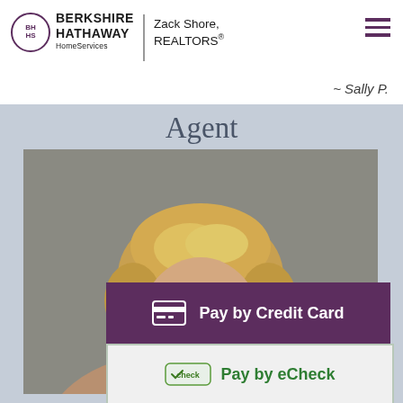BERKSHIRE HATHAWAY HomeServices | Zack Shore, REALTORS®
~ Sally P.
Agent
[Figure (photo): Portrait photo of a woman with short blonde hair]
Pay by Credit Card
Pay by eCheck